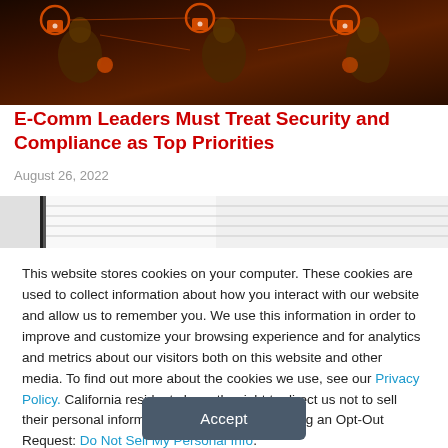[Figure (photo): Banner image showing people interacting with digital security icons, padlocks and network connections on dark background with orange/red accents]
E-Comm Leaders Must Treat Security and Compliance as Top Priorities
August 26, 2022
[Figure (photo): Partially visible image showing spreadsheet or document pages]
This website stores cookies on your computer. These cookies are used to collect information about how you interact with our website and allow us to remember you. We use this information in order to improve and customize your browsing experience and for analytics and metrics about our visitors both on this website and other media. To find out more about the cookies we use, see our Privacy Policy. California residents have the right to direct us not to sell their personal information to third parties by filing an Opt-Out Request: Do Not Sell My Personal Info.
Accept